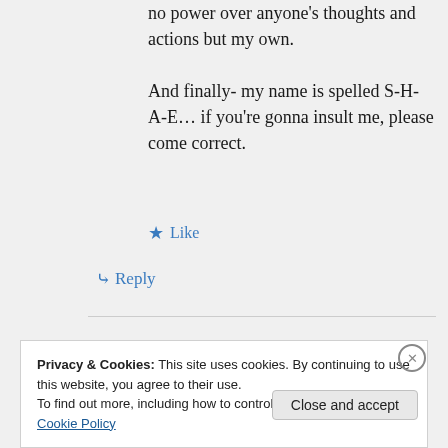no power over anyone's thoughts and actions but my own.
And finally- my name is spelled S-H-A-E… if you're gonna insult me, please come correct.
★ Like
↳ Reply
Privacy & Cookies: This site uses cookies. By continuing to use this website, you agree to their use.
To find out more, including how to control cookies, see here: Cookie Policy
Close and accept